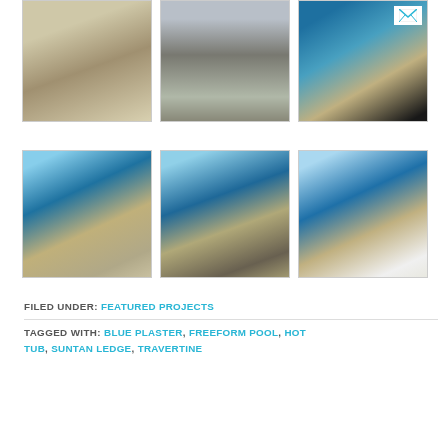[Figure (photo): Pool construction photo - rough concrete shell being formed]
[Figure (photo): Pool construction photo - concrete columns and excavation with machinery]
[Figure (photo): Pool construction photo - completed freeform pool with travertine coping and blue plaster]
[Figure (photo): Pool construction photo - freeform pool with hot tub, patio furniture visible]
[Figure (photo): Pool construction photo - pool and spa with lounge chairs on travertine deck]
[Figure (photo): Pool construction photo - completed freeform pool with hot tub and suntan ledge]
FILED UNDER: FEATURED PROJECTS
TAGGED WITH: BLUE PLASTER, FREEFORM POOL, HOT TUB, SUNTAN LEDGE, TRAVERTINE